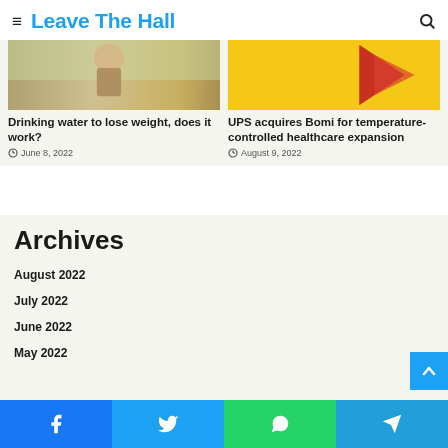≡ Leave The Hall
[Figure (photo): Two article card images: left shows a person exercising outdoors (warm tones), right shows a yellow background with a red arrow/logo]
Drinking water to lose weight, does it work?
June 8, 2022
UPS acquires Bomi for temperature-controlled healthcare expansion
August 9, 2022
Archives
August 2022
July 2022
June 2022
May 2022
Facebook | Twitter | WhatsApp | Telegram